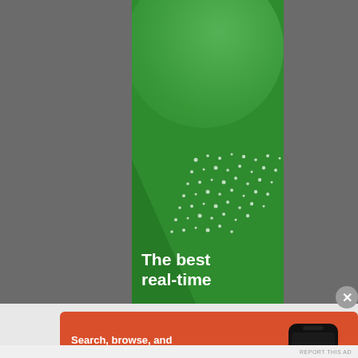[Figure (illustration): Green advertisement banner with light green oval/bubbles at top, white dot pattern in middle, and white bold text reading 'The best real-time' at the bottom, on a dark gray background]
[Figure (illustration): DuckDuckGo advertisement on orange/red background with text 'Search, browse, and email with more privacy.' and button 'All in One Free App', with a smartphone showing DuckDuckGo logo and branding on the right side]
Search, browse, and email with more privacy.
All in One Free App
REPORT THIS AD